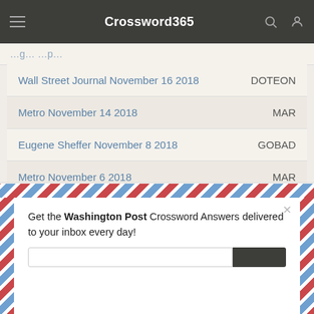Crossword365
| Puzzle | Answer |
| --- | --- |
| Wall Street Journal November 16 2018 | DOTEON |
| Metro November 14 2018 | MAR |
| Eugene Sheffer November 8 2018 | GOBAD |
| Metro November 6 2018 | MAR |
| Wall Street Journal November 6 2018 | MAR |
[Figure (screenshot): Email subscription popup with Washington Post Crossword Answers offer, diagonal red/white/blue stripe border, close button, email input and submit button.]